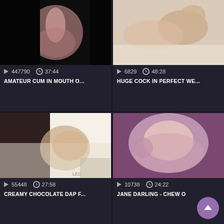[Figure (screenshot): Video thumbnail grid showing adult video content. Top-left: close-up pink/flesh tones on black background. Top-right: two people on white bed. Bottom-left: interracial scene on white couch. Bottom-right: blonde woman close-up with purple background.]
447790  37:44
AMATEUR CUM IN MOUTH O...
6829  48:28
HUGE COCK IN PERFECT WE...
55448  27:58
CREAMY CHOCOLATE DAP F...
10738  24:22
JANE DARLING - CHEW O